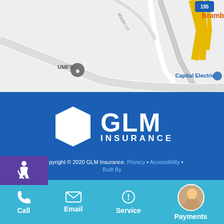[Figure (screenshot): Google Maps screenshot showing area near UMFS and Capital Electric with Interstate 195]
[Figure (logo): GLM Insurance logo - white hexagon shape with GLM INSURANCE text]
Copyright © 2020 GLM Insurance. Privacy • Accessibility • Built By
Phone 804-358-2108
Fax 804-249-6600
Call  Email  Service  Payments